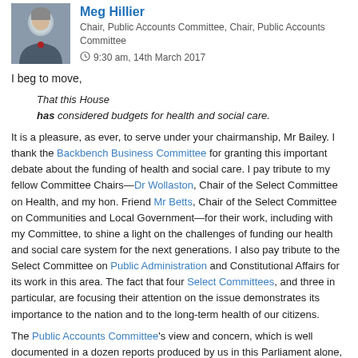Meg Hillier, Chair, Public Accounts Committee, Chair, Public Accounts Committee. 9:30 am, 14th March 2017
I beg to move,
That this House has considered budgets for health and social care.
It is a pleasure, as ever, to serve under your chairmanship, Mr Bailey. I thank the Backbench Business Committee for granting this important debate about the funding of health and social care. I pay tribute to my fellow Committee Chairs—Dr Wollaston, Chair of the Select Committee on Health, and my hon. Friend Mr Betts, Chair of the Select Committee on Communities and Local Government—for their work, including with my Committee, to shine a light on the challenges of funding our health and social care system for the next generations. I also pay tribute to the Select Committee on Public Administration and Constitutional Affairs for its work in this area. The fact that four Select Committees, and three in particular, are focusing their attention on the issue demonstrates its importance to the nation and to the long-term health of our citizens.
The Public Accounts Committee's view and concern, which is well documented in a dozen reports produced by us in this Parliament alone, is that there is a challenge with the funding settlement for the national